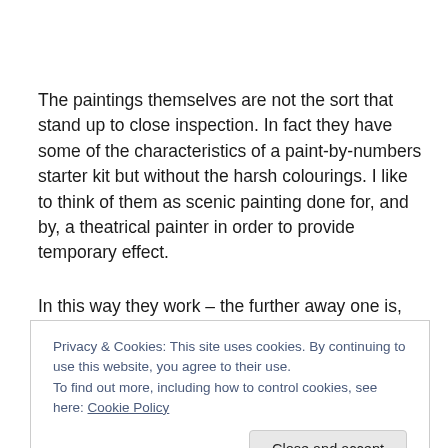The paintings themselves are not the sort that stand up to close inspection. In fact they have some of the characteristics of a paint-by-numbers starter kit but without the harsh colourings. I like to think of them as scenic painting done for, and by, a theatrical painter in order to provide temporary effect.
In this way they work – the further away one is, the higher
Privacy & Cookies: This site uses cookies. By continuing to use this website, you agree to their use.
To find out more, including how to control cookies, see here: Cookie Policy
Close and accept